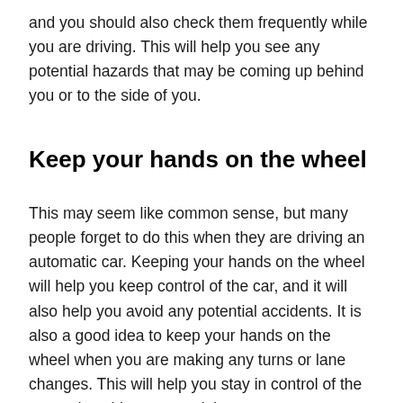and you should also check them frequently while you are driving. This will help you see any potential hazards that may be coming up behind you or to the side of you.
Keep your hands on the wheel
This may seem like common sense, but many people forget to do this when they are driving an automatic car. Keeping your hands on the wheel will help you keep control of the car, and it will also help you avoid any potential accidents. It is also a good idea to keep your hands on the wheel when you are making any turns or lane changes. This will help you stay in control of the car and avoid any potential